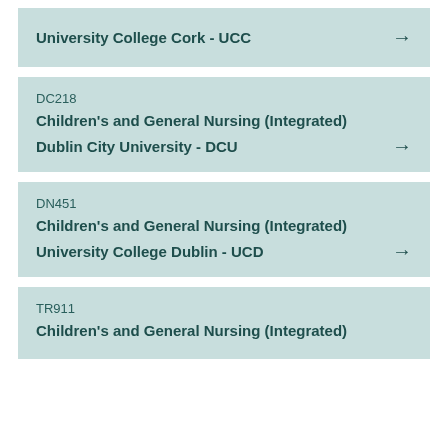University College Cork - UCC →
DC218
Children's and General Nursing (Integrated)
Dublin City University - DCU →
DN451
Children's and General Nursing (Integrated)
University College Dublin - UCD →
TR911
Children's and General Nursing (Integrated)